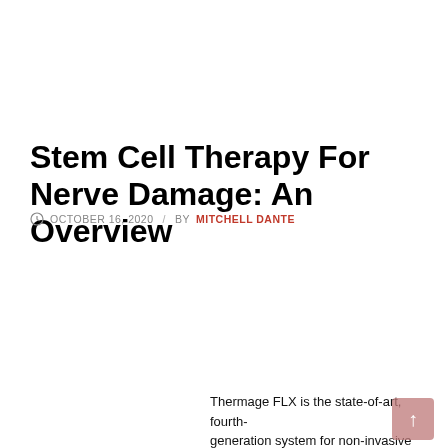Stem Cell Therapy For Nerve Damage: An Overview
OCTOBER 16, 2020 / BY MITCHELL DANTE
Thermage FLX is the state-of-art, fourth-generation system for non-invasive skin...